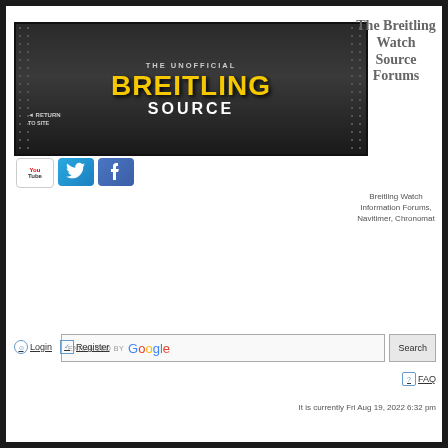[Figure (screenshot): Unofficial Breitling Source website banner with dark metal texture background, yellow BREITLING text, white SOURCE text, return to site link, and social media icons (YouTube, Twitter, Facebook)]
The Breitling Watch Source Forums
Breitling Watch Information Forums, Navitimer, Chronomat
ENHANCED BY Google Search
Login   Register
FAQ
It is currently Fri Aug 19, 2022 6:32 pm